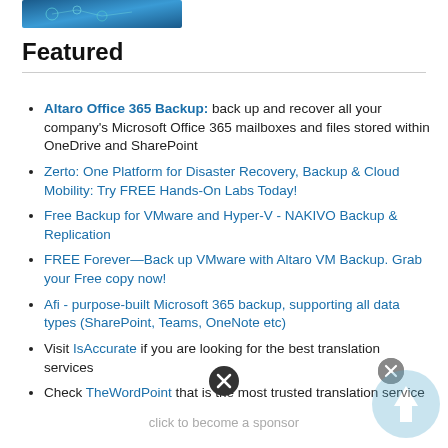[Figure (photo): Blue abstract/network image thumbnail at top left]
Featured
Altaro Office 365 Backup: back up and recover all your company's Microsoft Office 365 mailboxes and files stored within OneDrive and SharePoint
Zerto: One Platform for Disaster Recovery, Backup & Cloud Mobility: Try FREE Hands-On Labs Today!
Free Backup for VMware and Hyper-V - NAKIVO Backup & Replication
FREE Forever—Back up VMware with Altaro VM Backup. Grab your Free copy now!
Afi - purpose-built Microsoft 365 backup, supporting all data types (SharePoint, Teams, OneNote etc)
Visit IsAccurate if you are looking for the best translation services
Check TheWordPoint that is the most trusted translation service
click to become a sponsor